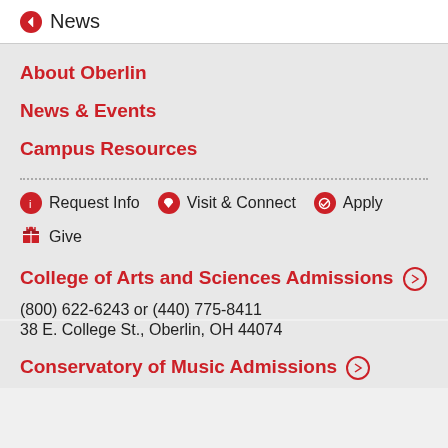News
About Oberlin
News & Events
Campus Resources
Request Info
Visit & Connect
Apply
Give
College of Arts and Sciences Admissions →
(800) 622-6243 or (440) 775-8411
38 E. College St., Oberlin, OH 44074
Conservatory of Music Admissions →